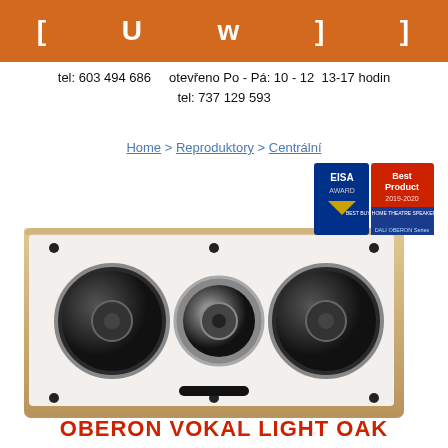[ U w ] ]
tel: 603 494 686    otevřeno Po - Pá: 10 - 12  13-17 hodin
tel: 737 129 593
Home > Reproduktory > Centrální
[Figure (photo): DALI Oberon Vokal Light Oak center speaker with two woofers and central tweeter on white baffle with wood side panels, and EISA Best Product 2019-2020 award badge]
OBERON VOKAL LIGHT OAK